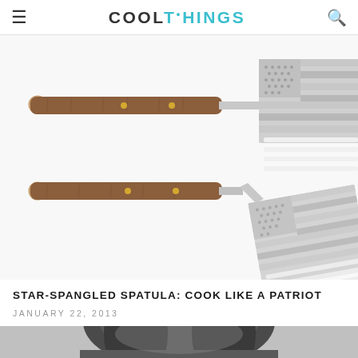COOLTHINGS
[Figure (photo): Two star-spangled spatulas with wooden handles and stainless steel heads shaped like an American flag, shown against a white background. Two views of the same spatula are shown stacked vertically.]
STAR-SPANGLED SPATULA: COOK LIKE A PATRIOT
JANUARY 22, 2013
[Figure (photo): Bottom portion of another product photo, partially visible, showing dark metallic cookware.]